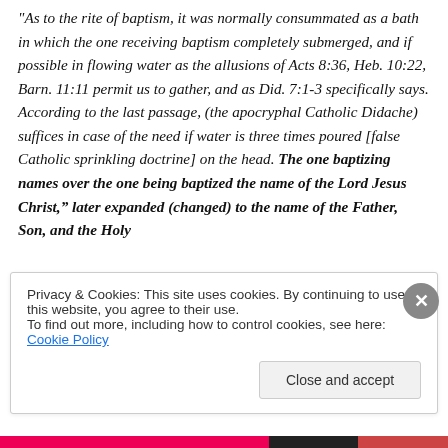As to the rite of baptism, it was normally consummated as a bath in which the one receiving baptism completely submerged, and if possible in flowing water as the allusions of Acts 8:36, Heb. 10:22, Barn. 11:11 permit us to gather, and as Did. 7:1-3 specifically says. According to the last passage, (the apocryphal Catholic Didache) suffices in case of the need if water is three times poured [false Catholic sprinkling doctrine] on the head. The one baptizing names over the one being baptized the name of the Lord Jesus Christ," later expanded (changed) to the name of the Father, Son, and the Holy
Privacy & Cookies: This site uses cookies. By continuing to use this website, you agree to their use. To find out more, including how to control cookies, see here: Cookie Policy